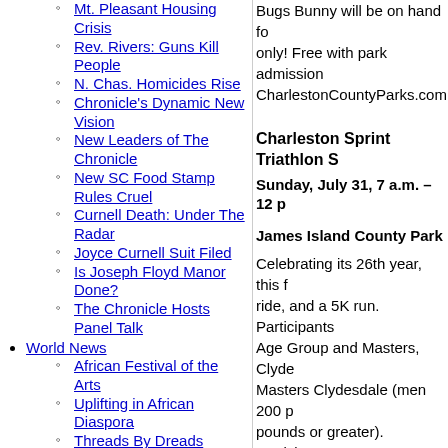Mt. Pleasant Housing Crisis
Rev. Rivers: Guns Kill People
N. Chas. Homicides Rise
Chronicle's Dynamic New Vision
New Leaders of The Chronicle
New SC Food Stamp Rules Cruel
Curnell Death: Under The Radar
Joyce Curnell Suit Filed
Is Joseph Floyd Manor Done?
The Chronicle Hosts Panel Talk
World News
African Festival of the Arts
Uplifting in African Diaspora
Threads By Dreads
Bugs Bunny will be on hand fo... only! Free with park admission... CharlestonCountyParks.com.
Charleston Sprint Triathlon S
Sunday, July 31, 7 a.m. – 12 p
James Island County Park
Celebrating its 26th year, this f... ride, and a 5K run. Participants... Age Group and Masters, Clyde... Masters Clydesdale (men 200 p... pounds or greater). Participants... riding a bicycle on roads open t... CharlestonCountyParks.com fo
July Programs